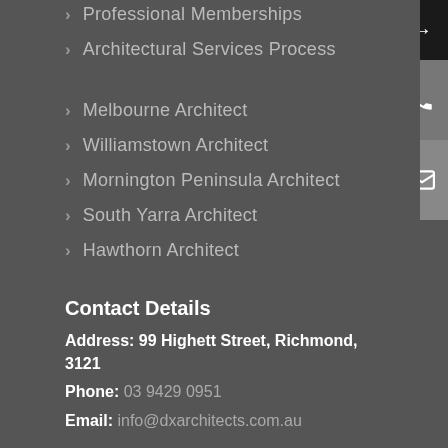Professional Memberships
Architectural Services Process
Melbourne Architect
Williamstown Architect
Mornington Peninsula Architect
South Yarra Architect
Hawthorn Architect
Contact Details
Address: 99 Highett Street, Richmond, 3121
Phone: 03 9429 0951
Email: info@dxarchitects.com.au